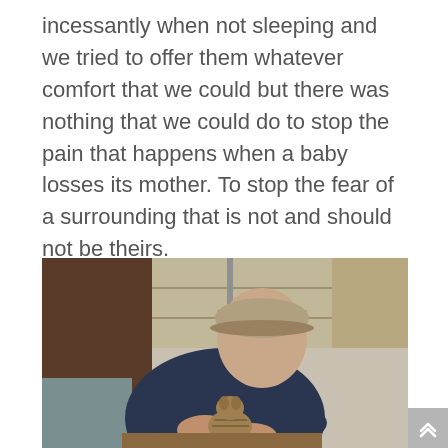incessantly when not sleeping and we tried to offer them whatever comfort that we could but there was nothing that we could do to stop the pain that happens when a baby losses its mother. To stop the fear of a surrounding that is not and should not be theirs.
[Figure (photo): A man wearing a dark navy blue t-shirt and a cap leans over, holding a small kitten in his hands. The background shows a cluttered workshop or garage with shelves, tools, and various items.]